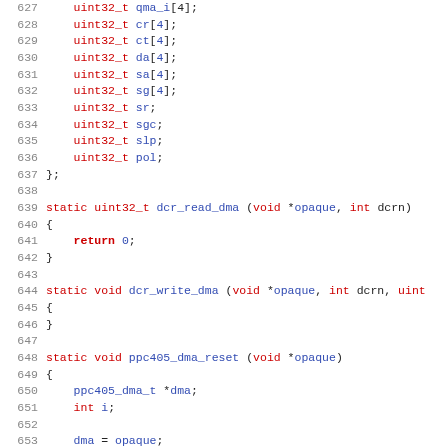[Figure (screenshot): Source code listing in C showing lines 627-659 of a PPC405 DMA driver. Contains struct fields (uint32_t arrays and scalars), and function definitions for dcr_read_dma, dcr_write_dma, and ppc405_dma_reset with syntax highlighting: keywords in red/dark red, identifiers and numbers in blue.]